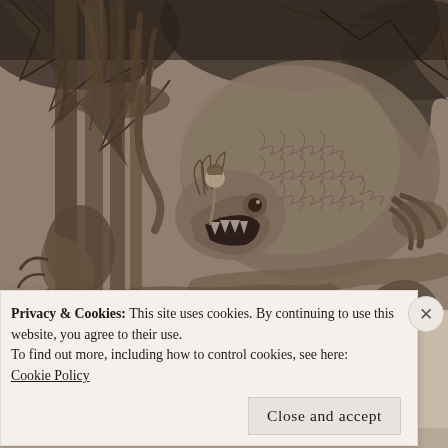[Figure (illustration): A detailed sepia-toned black and white engraving/illustration of a large dragon or serpentine creature with scales, bat-like wings, and clawed hands, appearing to grapple with or threaten a small human figure. The scene is set among dark tree trunks or pillars. The style is reminiscent of classic fantasy book illustration.]
Privacy & Cookies: This site uses cookies. By continuing to use this website, you agree to their use.
To find out more, including how to control cookies, see here:
Cookie Policy
Close and accept